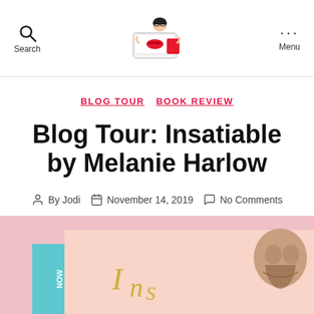Search | [Blog Logo] | Menu
BLOG TOUR  BOOK REVIEW
Blog Tour: Insatiable by Melanie Harlow
By Jodi  November 14, 2019  No Comments
[Figure (photo): Book cover banner for Insatiable by Melanie Harlow showing a pink background with a NOW badge in teal, gold script lettering, and a man's face on the right side]